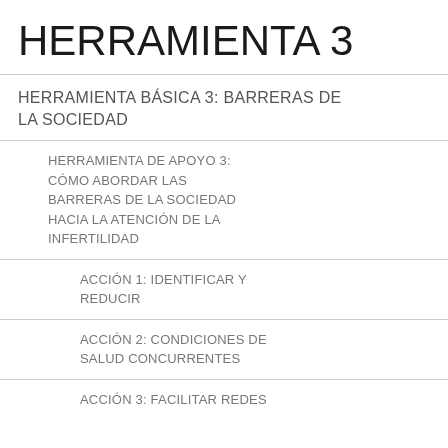HERRAMIENTA 3
HERRAMIENTA BÁSICA 3: BARRERAS DE LA SOCIEDAD
HERRAMIENTA DE APOYO 3: CÓMO ABORDAR LAS BARRERAS DE LA SOCIEDAD HACIA LA ATENCIÓN DE LA INFERTILIDAD
ACCIÓN 1: IDENTIFICAR Y REDUCIR
ACCIÓN 2: CONDICIONES DE SALUD CONCURRENTES
ACCIÓN 3: FACILITAR REDES